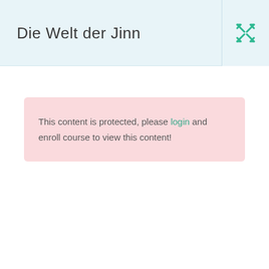Die Welt der Jinn
This content is protected, please login and enroll course to view this content!